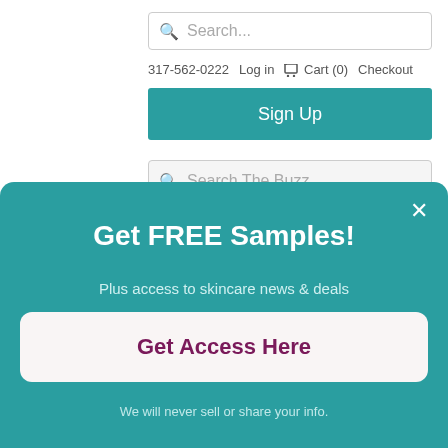[Figure (screenshot): Search input box with placeholder text 'Search...' at top of page]
317-562-0222   Log in   Cart (0)   Checkout
Sign Up
[Figure (screenshot): Search input box with placeholder text 'Search The Buzz...']
Get FREE Samples!
Plus access to skincare news & deals
Get Access Here
We will never sell or share your info.